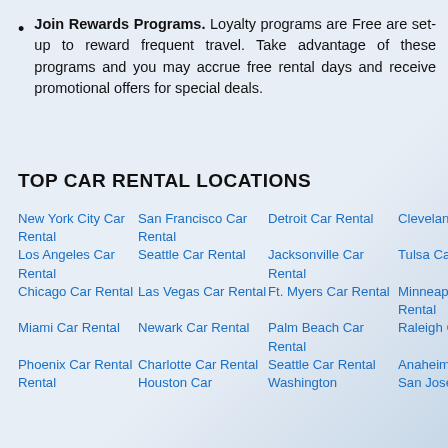Join Rewards Programs. Loyalty programs are Free are set-up to reward frequent travel. Take advantage of these programs and you may accrue free rental days and receive promotional offers for special deals.
TOP CAR RENTAL LOCATIONS
New York City Car Rental
San Francisco Car Rental
Detroit Car Rental
Cleveland Car Rental
Los Angeles Car Rental
Seattle Car Rental
Jacksonville Car Rental
Tulsa Car Rental
Chicago Car Rental
Las Vegas Car Rental
Ft. Myers Car Rental
Minneapolis Car Rental
Miami Car Rental
Newark Car Rental
Palm Beach Car Rental
Raleigh Car Rental
Phoenix Car Rental
Charlotte Car Rental
Seattle Car Rental
Anaheim Car Rental
Houston Car
Washington
San Jose Car